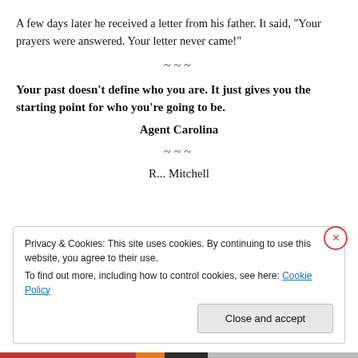A few days later he received a letter from his father. It said, “Your prayers were answered. Your letter never came!”
~~~
Your past doesn’t define who you are. It just gives you the starting point for who you’re going to be.
Agent Carolina
~~~
R... Mitchell
Privacy & Cookies: This site uses cookies. By continuing to use this website, you agree to their use.
To find out more, including how to control cookies, see here: Cookie Policy
Close and accept